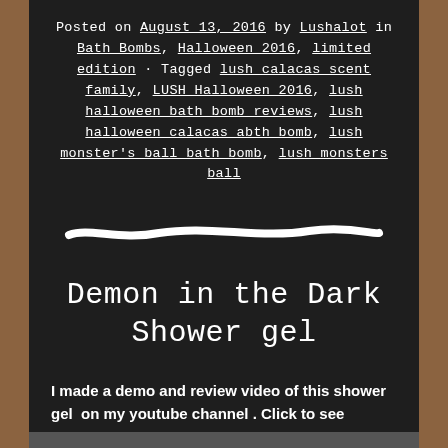Posted on August 13, 2016 by Lushalot in Bath Bombs, Halloween 2016, limited edition • Tagged lush calacas scent family, LUSH Halloween 2016, lush halloween bath bomb reviews, lush halloween calacas abth bomb, lush monster's ball bath bomb, lush monsters ball
[Figure (illustration): A hand-drawn white horizontal line/stroke on dark background, like a chalk divider]
Demon in the Dark Shower gel
I made a demo and review video of this shower gel on my youtube channel . Click to see